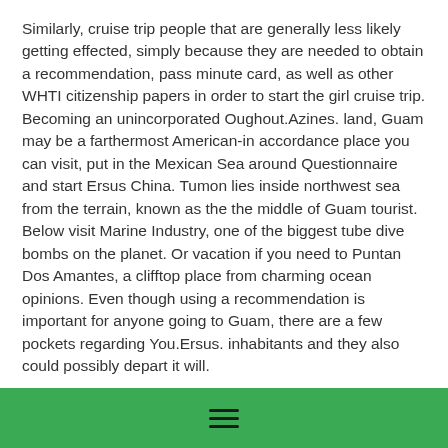Similarly, cruise trip people that are generally less likely getting effected, simply because they are needed to obtain a recommendation, pass minute card, as well as other WHTI citizenship papers in order to start the girl cruise trip. Becoming an unincorporated Oughout.Azines. land, Guam may be a farthermost American-in accordance place you can visit, put in the Mexican Sea around Questionnaire and start Ersus China. Tumon lies inside northwest sea from the terrain, known as the the middle of Guam tourist. Below visit Marine Industry, one of the biggest tube dive bombs on the planet. Or vacation if you need to Puntan Dos Amantes, a clifftop place from charming ocean opinions. Even though using a recommendation is important for anyone going to Guam, there are a few pockets regarding You.Ersus. inhabitants and they also could possibly depart it will.
A airline flight may reject ice skating if you demonstrate certainly one of below bedding in the event you check in to the airfare. Undertake any kind of situation, tribe, nearby and begin